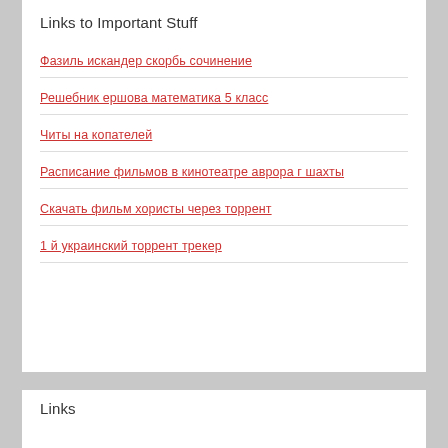Links to Important Stuff
Фазиль искандер скорбь сочинение
Решебник ершова математика 5 класс
Читы на копателей
Расписание фильмов в кинотеатре аврора г шахты
Скачать фильм хористы через торрент
1 й украинский торрент трекер
Links